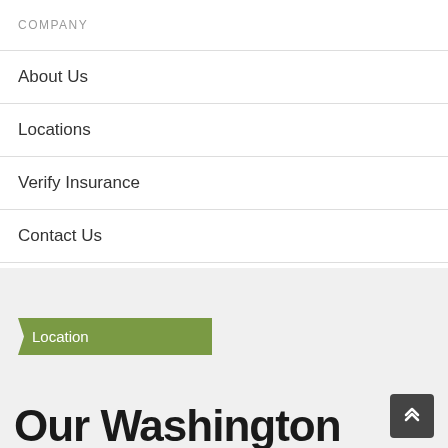COMPANY
About Us
Locations
Verify Insurance
Contact Us
Location
Our Washington